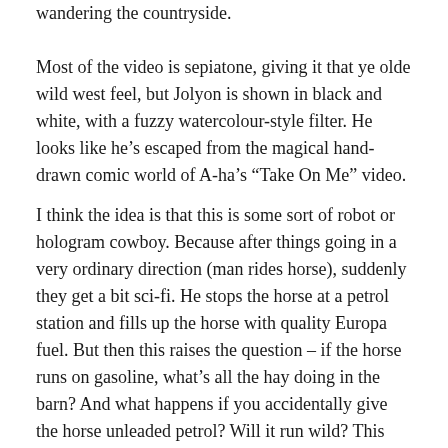wandering the countryside.
Most of the video is sepiatone, giving it that ye olde wild west feel, but Jolyon is shown in black and white, with a fuzzy watercolour-style filter. He looks like he's escaped from the magical hand-drawn comic world of A-ha's “Take On Me” video.
I think the idea is that this is some sort of robot or hologram cowboy. Because after things going in a very ordinary direction (man rides horse), suddenly they get a bit sci-fi. He stops the horse at a petrol station and fills up the horse with quality Europa fuel. But then this raises the question – if the horse runs on gasoline, what’s all the hay doing in the barn? And what happens if you accidentally give the horse unleaded petrol? Will it run wild? This point should actually be covered.